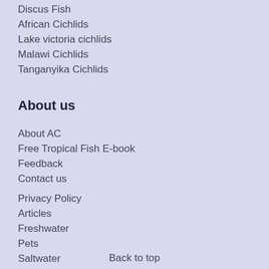Discus Fish
African Cichlids
Lake victoria cichlids
Malawi Cichlids
Tanganyika Cichlids
About us
About AC
Free Tropical Fish E-book
Feedback
Contact us
Privacy Policy
Articles
Freshwater
Pets
Saltwater
Back to top